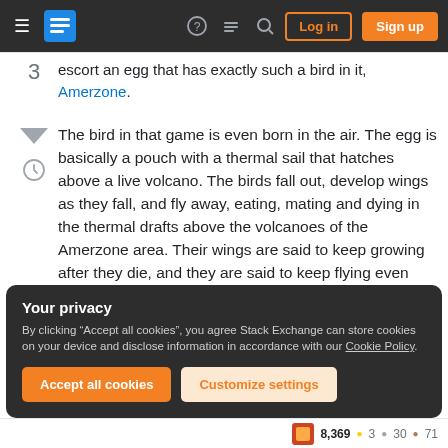Stack Exchange navigation bar with hamburger menu, logo, help, chat, search, Log in, Sign up buttons
escort an egg that has exactly such a bird in it, Amerzone.
The bird in that game is even born in the air. The egg is basically a pouch with a thermal sail that hatches above a live volcano. The birds fall out, develop wings as they fall, and fly away, eating, mating and dying in the thermal drafts above the volcanoes of the Amerzone area. Their wings are said to keep growing after they die, and they are said to keep flying even after death.
Your privacy
By clicking “Accept all cookies”, you agree Stack Exchange can store cookies on your device and disclose information in accordance with our Cookie Policy.
8,369  3  30  71